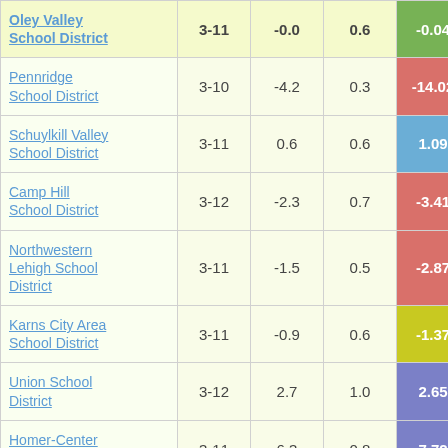| School District | Grades | Col3 | Col4 | Score |
| --- | --- | --- | --- | --- |
| Oley Valley School District | 3-11 | -0.0 | 0.6 | -0.04 |
| Pennridge School District | 3-10 | -4.2 | 0.3 | -14.02 |
| Schuylkill Valley School District | 3-11 | 0.6 | 0.6 | 1.09 |
| Camp Hill School District | 3-12 | -2.3 | 0.7 | -3.41 |
| Northwestern Lehigh School District | 3-11 | -1.5 | 0.5 | -2.87 |
| Karns City Area School District | 3-11 | -0.9 | 0.6 | -1.37 |
| Union School District | 3-12 | 2.7 | 1.0 | 2.65 |
| Homer-Center School District | 3-11 | 6.3 | 0.8 | 7.72 |